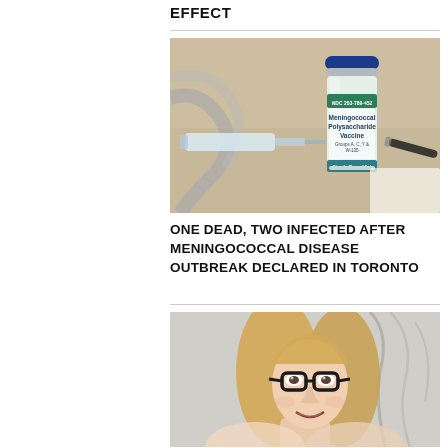EFFECT
[Figure (photo): A vial of Meningococcal Polysaccharide Vaccine (Groups A, C, Y & W-135, Single Dose Vial) with NDC 203-789-452, surrounded by syringes and a pen on a surface.]
ONE DEAD, TWO INFECTED AFTER MENINGOCOCCAL DISEASE OUTBREAK DECLARED IN TORONTO
[Figure (photo): A smiling woman with long blonde hair wearing dark-framed glasses, taking a selfie.]